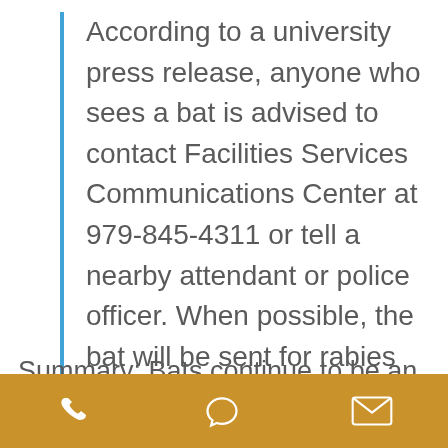According to a university press release, anyone who sees a bat is advised to contact Facilities Services Communications Center at 979-845-4311 or tell a nearby attendant or police officer. When possible, the bat will be sent for rabies testing and the Texas Department of State Health Services will be consulted.
See more
Summary: Bats continue to be an issue
[Figure (other): Mobile app footer toolbar with phone, chat bubble, and envelope icons on a golden-brown background]